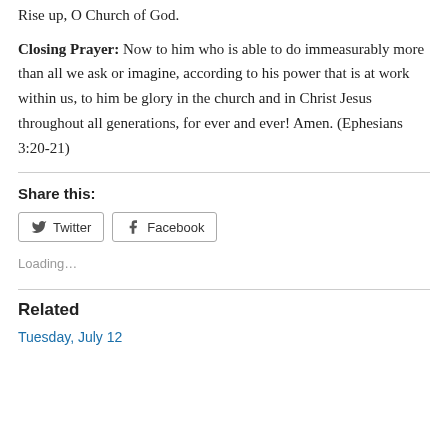Rise up, O Church of God.
Closing Prayer: Now to him who is able to do immeasurably more than all we ask or imagine, according to his power that is at work within us, to him be glory in the church and in Christ Jesus throughout all generations, for ever and ever! Amen. (Ephesians 3:20-21)
Share this:
Loading...
Related
Tuesday, July 12